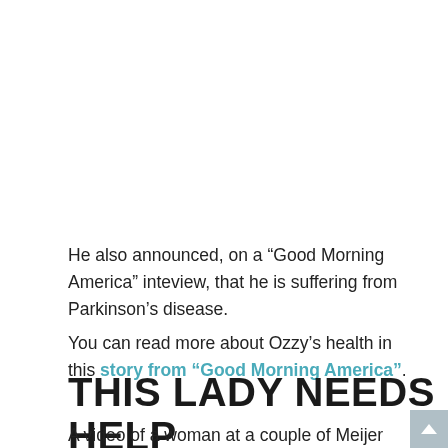He also announced, on a “Good Morning America” inteview, that he is suffering from Parkinson’s disease.
You can read more about Ozzy’s health in this story from “Good Morning America”.
THIS LADY NEEDS HELP
A video of a woman at a couple of Meijer stores has gone